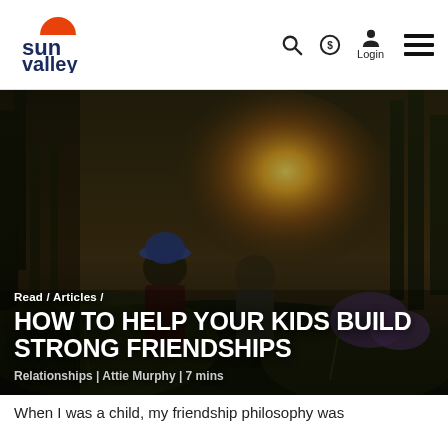sun valley [logo] | Search | Account | Login | Menu
[Figure (photo): Two young children laughing together outdoors at golden hour/sunset, with trees and wildflowers in the background. Warm golden backlighting creates a glowing silhouette effect.]
Read / Articles /
HOW TO HELP YOUR KIDS BUILD STRONG FRIENDSHIPS
Relationships | Attie Murphy | 7 mins
When I was a child, my friendship philosophy was